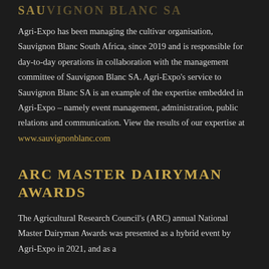SAUVIGNON BLANC SA
Agri-Expo has been managing the cultivar organisation, Sauvignon Blanc South Africa, since 2019 and is responsible for day-to-day operations in collaboration with the management committee of Sauvignon Blanc SA. Agri-Expo's service to Sauvignon Blanc SA is an example of the expertise embedded in Agri-Expo – namely event management, administration, public relations and communication. View the results of our expertise at www.sauvignonblanc.com
ARC MASTER DAIRYMAN AWARDS
The Agricultural Research Council's (ARC) annual National Master Dairyman Awards was presented as a hybrid event by Agri-Expo in 2021, and as a